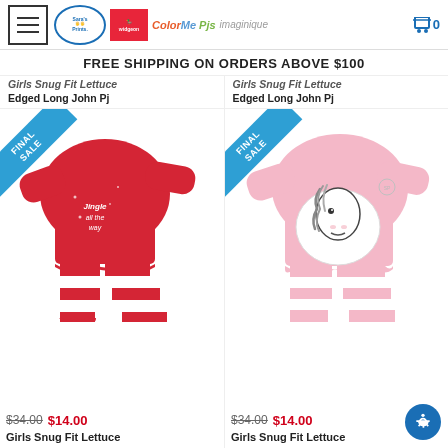Sara's Prints | Widgeon | ColorMe Pjs | Imaginique — Cart (0)
FREE SHIPPING ON ORDERS ABOVE $100
Girls Snug Fit Lettuce Edged Long John Pj (left, truncated top)
Girls Snug Fit Lettuce Edged Long John Pj (right, truncated top)
[Figure (photo): Red pajama set with 'Jingle all the way' graphic top and red/white striped pants, with FINAL SALE ribbon]
$34.00 $14.00
Girls Snug Fit Lettuce
[Figure (photo): Pink pajama set with horse graphic top and pink/white striped pants, with FINAL SALE ribbon]
$34.00 $14.00
Girls Snug Fit Lettuce